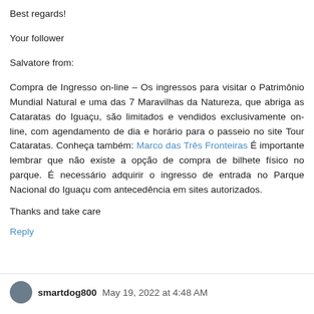Best regards!
Your follower
Salvatore from:
Compra de Ingresso on-line – Os ingressos para visitar o Patrimônio Mundial Natural e uma das 7 Maravilhas da Natureza, que abriga as Cataratas do Iguaçu, são limitados e vendidos exclusivamente on-line, com agendamento de dia e horário para o passeio no site Tour Cataratas. Conheça também: Marco das Três Fronteiras É importante lembrar que não existe a opção de compra de bilhete físico no parque. É necessário adquirir o ingresso de entrada no Parque Nacional do Iguaçu com antecedência em sites autorizados.
Thanks and take care
Reply
smartdog800 May 19, 2022 at 4:48 AM